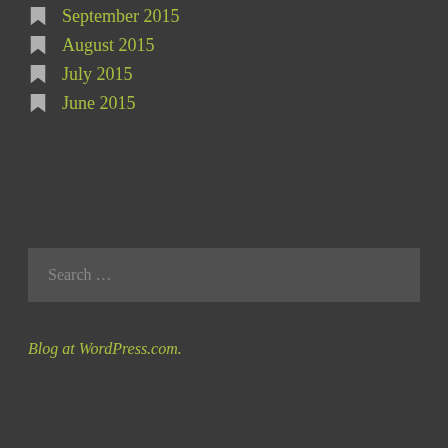September 2015
August 2015
July 2015
June 2015
Search …
Blog at WordPress.com.